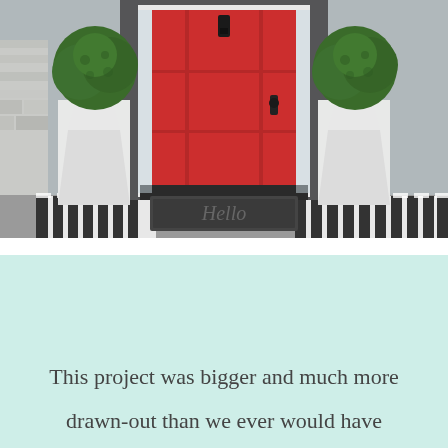[Figure (photo): Exterior front door scene: a bright red painted door with black hardware centered in a dark gray frame, flanked by two white tall tapered planters each holding round topiary bushes. A black 'Hello' doormat sits in front of the door on a black-and-white striped outdoor rug. Stone wall visible on left side.]
This project was bigger and much more drawn-out than we ever would have